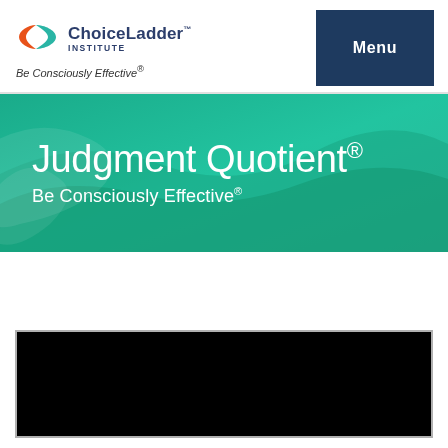[Figure (logo): ChoiceLadder Institute logo with stylized alpha/fish icon in orange and teal]
Be Consciously Effective®
[Figure (other): Dark navy Menu button]
[Figure (other): Green teal hero banner with text Judgment Quotient® and Be Consciously Effective®]
Judgment Quotient®
Be Consciously Effective®
[Figure (screenshot): Black video player embed area]